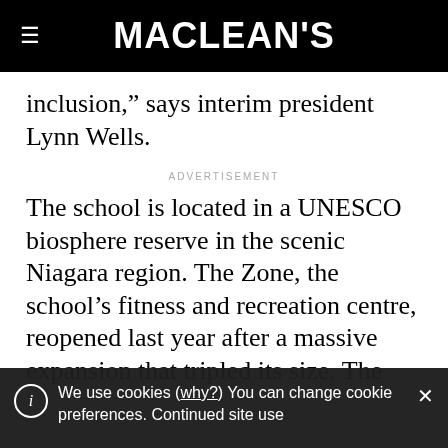MACLEAN'S
inclusion,” says interim president Lynn Wells.
ADVERTISEMENT
The school is located in a UNESCO biosphere reserve in the scenic Niagara region. The Zone, the school’s fitness and recreation centre, reopened last year after a massive expansion that tripled its size. The
We use cookies (why?) You can change cookie preferences. Continued site use